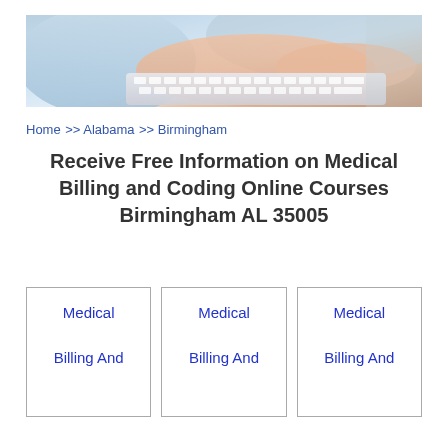[Figure (photo): Person typing on a keyboard, wearing a light blue shirt, close-up of hands on white keyboard]
Home >> Alabama >> Birmingham
Receive Free Information on Medical Billing and Coding Online Courses Birmingham AL 35005
Medical Billing And
Medical Billing And
Medical Billing And